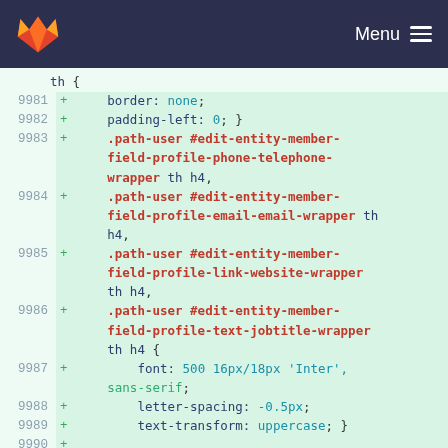GitLab — Menu
Code diff showing lines 9981-9991 of a CSS file with added lines (+) containing CSS rules for .path-user #edit-entity-member-field-profile selectors.